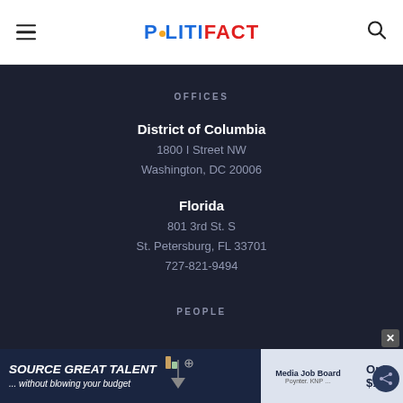POLITIFACT
OFFICES
District of Columbia
1800 I Street NW
Washington, DC 20006
Florida
801 3rd St. S
St. Petersburg, FL 33701
727-821-9494
PEOPLE
[Figure (other): Advertisement banner: SOURCE GREAT TALENT ...without blowing your budget | Media Job Board | Only $199]